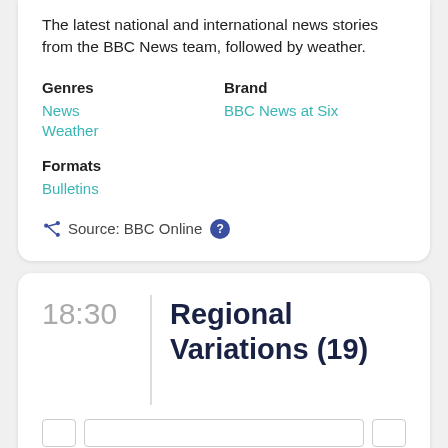The latest national and international news stories from the BBC News team, followed by weather.
Genres
Brand
News
BBC News at Six
Weather
Formats
Bulletins
Source: BBC Online
18:30
Regional Variations (19)